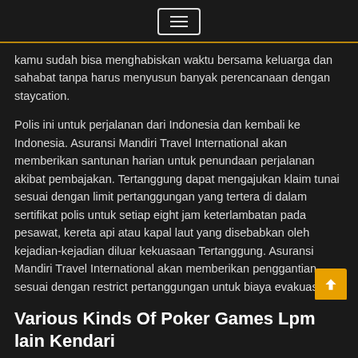☰
kamu sudah bisa menghabiskan waktu bersama keluarga dan sahabat tanpa harus menyusun banyak perencanaan dengan staycation.
Polis ini untuk perjalanan dari Indonesia dan kembali ke Indonesia. Asuransi Mandiri Travel International akan memberikan santunan harian untuk penundaan perjalanan akibat pembajakan. Tertanggung dapat mengajukan klaim tunai sesuai dengan limit pertanggungan yang tertera di dalam sertifikat polis untuk setiap eight jam keterlambatan pada pesawat, kereta api atau kapal laut yang disebabkan oleh kejadian-kejadian diluar kekuasaan Tertanggung. Asuransi Mandiri Travel International akan memberikan penggantian sesuai dengan restrict pertanggungan untuk biaya evakuasi dan repatriasi medis.
Various Kinds Of Poker Games Lpm lain Kendari